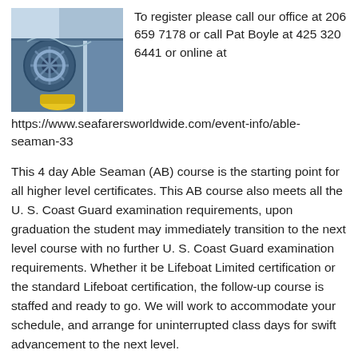[Figure (photo): Photo of ship deck machinery/winch equipment with yellow cap, blue metal equipment against blue sky background]
To register please call our office at 206 659 7178 or call Pat Boyle at 425 320 6441 or online at
https://www.seafarersworldwide.com/event-info/able-seaman-33
This 4 day Able Seaman (AB) course is the starting point for all higher level certificates. This AB course also meets all the U. S. Coast Guard examination requirements, upon graduation the student may immediately transition to the next level course with no further U. S. Coast Guard examination requirements. Whether it be Lifeboat Limited certification or the standard Lifeboat certification, the follow-up course is staffed and ready to go. We will work to accommodate your schedule, and arrange for uninterrupted class days for swift advancement to the next level.
Course Duration: 5 Days (40 Hours)